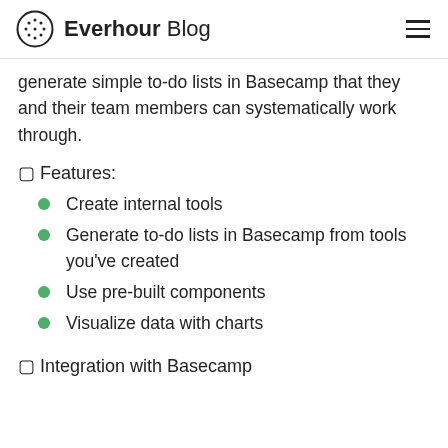Everhour Blog
generate simple to-do lists in Basecamp that they and their team members can systematically work through.
🔲 Features:
Create internal tools
Generate to-do lists in Basecamp from tools you've created
Use pre-built components
Visualize data with charts
🔲 Integration with Basecamp